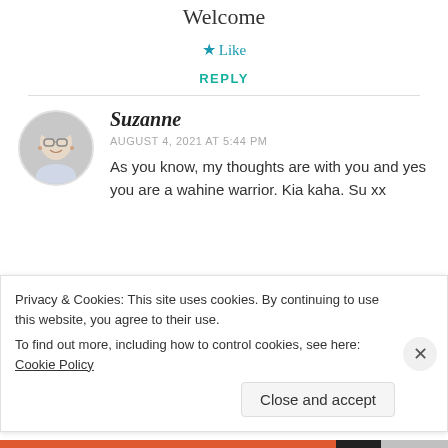Welcome
★ Like
REPLY
[Figure (photo): Circular avatar photo of a woman named Suzanne, with glasses, white/grey hair, smiling, against a light grey background.]
Suzanne
AUGUST 4, 2021 AT 5:44 PM
As you know, my thoughts are with you and yes you are a wahine warrior. Kia kaha. Su xx
Privacy & Cookies: This site uses cookies. By continuing to use this website, you agree to their use.
To find out more, including how to control cookies, see here: Cookie Policy
Close and accept